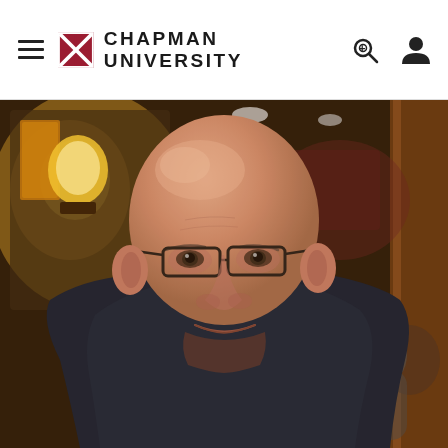Chapman University
[Figure (photo): Headshot of a bald middle-aged man wearing glasses and a dark navy shirt, photographed in a warm, blurred restaurant or bar environment with golden lighting and wooden accents in the background. He is smiling slightly and looking toward the camera.]